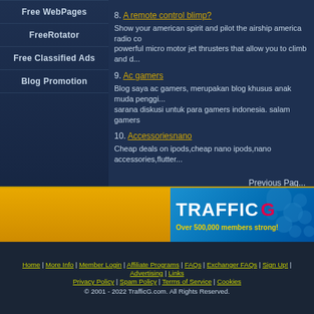Free WebPages
FreeRotator
Free Classified Ads
Blog Promotion
8. A remote control blimp? Show your american spirit and pilot the airship america radio co... powerful micro motor jet thrusters that allow you to climb and d...
9. Ac gamers Blog saya ac gamers, merupakan blog khusus anak muda penggi... sarana diskusi untuk para gamers indonesia. salam gamers
10. Accessoriesnano Cheap deals on ipods,cheap nano ipods,nano accessories,flutter...
Previous Pag...
Join
[Figure (logo): TrafficG logo banner: blue background with TRAFFICG text (G in pink/red), Over 500,000 members strong! in yellow, blue bubble dots on right]
Home | More Info | Member Login | Affiliate Programs | FAQs | Exchanger FAQs | Sign Up! | Advertising | Links
Privacy Policy | Spam Policy | Terms of Service | Cookies
© 2001 - 2022 TrafficG.com. All Rights Reserved.